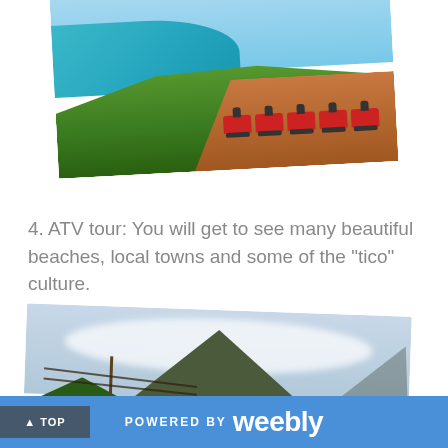[Figure (photo): ATV riders on a hilltop overlooking a beautiful turquoise beach and coastline in Costa Rica]
4. ATV tour: You will get to see many beautiful beaches, local towns and some of the “tico” culture.
[Figure (photo): A large volcano (Arenal or similar) rising above a green landscape with a road, utility poles, trees, and a small building in the foreground]
POWERED BY weebly